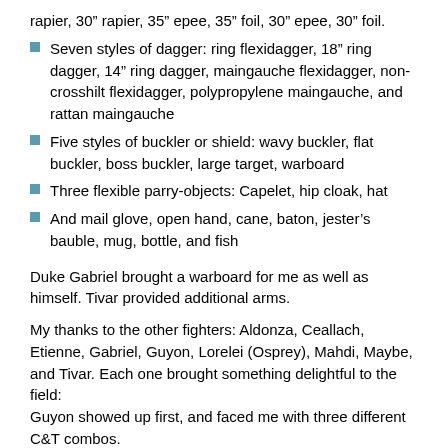rapier, 30” rapier, 35” epee, 35” foil, 30” epee, 30” foil.
Seven styles of dagger: ring flexidagger, 18” ring dagger, 14” ring dagger, maingauche flexidagger, non-crosshilt flexidagger, polypropylene maingauche, and rattan maingauche
Five styles of buckler or shield: wavy buckler, flat buckler, boss buckler, large target, warboard
Three flexible parry-objects: Capelet, hip cloak, hat
And mail glove, open hand, cane, baton, jester’s bauble, mug, bottle, and fish
Duke Gabriel brought a warboard for me as well as himself. Tivar provided additional arms.
My thanks to the other fighters: Aldonza, Ceallach, Etienne, Gabriel, Guyon, Lorelei (Osprey), Mahdi, Maybe, and Tivar. Each one brought something delightful to the field:
Guyon showed up first, and faced me with three different C&T combos.
Aldonza deliberately chose to face the hat because she had no idea how it worked. What daring!
Maybe Knott got excited with the possibilities of fighting with daggers without rapiers, and chose several varieties.
Etienne volunteered to be a youth marshal so I could open it up to the youth fighters.